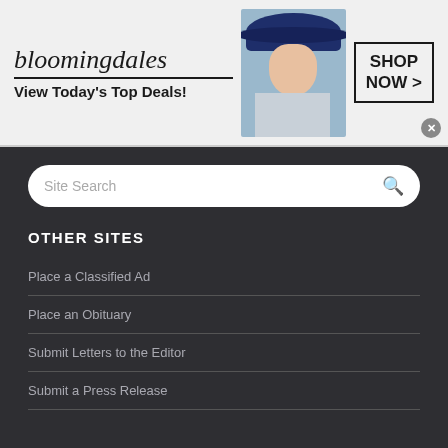[Figure (illustration): Bloomingdales advertisement banner with logo, model wearing wide-brim hat, and 'SHOP NOW >' button]
[Figure (screenshot): Site Search input box with magnifying glass icon on dark background]
OTHER SITES
Place a Classified Ad
Place an Obituary
Submit Letters to the Editor
Submit a Press Release
[Figure (illustration): Official NFL Gear advertisement with jerseys image, title 'Official NFL Gear', description 'Get Your Favorite Team's Gear Here', URL 'www.nflshop.com', and navigation arrow button]